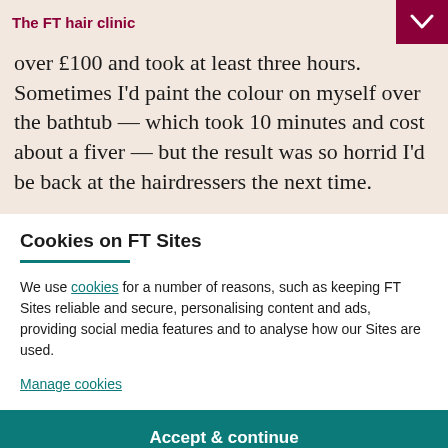The FT hair clinic
over £100 and took at least three hours. Sometimes I'd paint the colour on myself over the bathtub — which took 10 minutes and cost about a fiver — but the result was so horrid I'd be back at the hairdressers the next time.
Cookies on FT Sites
We use cookies for a number of reasons, such as keeping FT Sites reliable and secure, personalising content and ads, providing social media features and to analyse how our Sites are used.
Manage cookies
Accept & continue